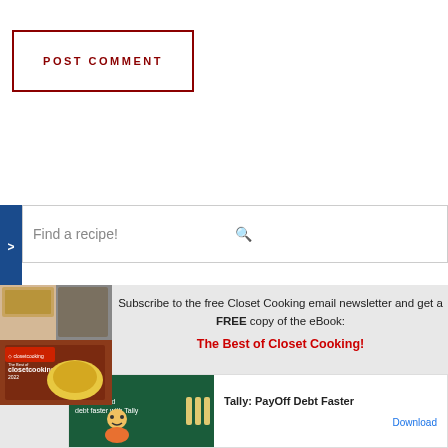POST COMMENT
>
Find a recipe!
[Figure (illustration): Book cover for The Best of Closet Cooking 2022, showing various food dishes]
Subscribe to the free Closet Cooking email newsletter and get a FREE copy of the eBook: The Best of Closet Cooking!
[Figure (infographic): Advertisement banner: Tally: PayOff Debt Faster with Download button]